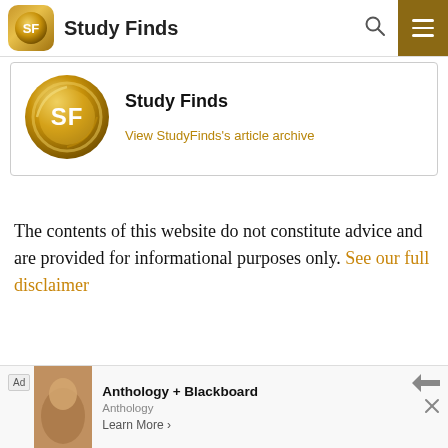Study Finds
[Figure (logo): Study Finds circular gold SF logo with author name and article archive link]
The contents of this website do not constitute advice and are provided for informational purposes only. See our full disclaimer
[Figure (screenshot): Advertisement banner: Anthology + Blackboard, Anthology, Learn More]